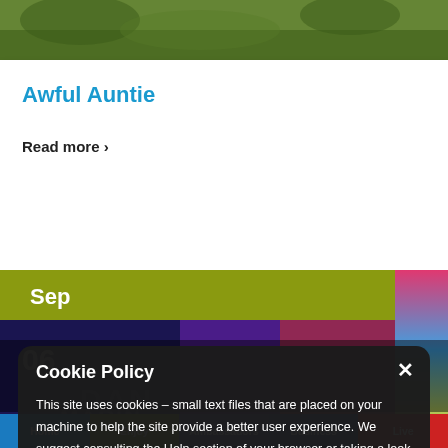[Figure (screenshot): Top portion of a website showing a nature/green background photo cropped at top]
Awful Auntie
Read more ›
[Figure (screenshot): Event listing with Sep banner, date 06, colorful background with partial face and DAN MARIN watermark text]
Cookie Policy
This site uses cookies – small text files that are placed on your machine to help the site provide a better user experience. We suggest consulting the Help section of your browser or taking a look at the About Cookies website which offers guidance for all modern browsers
Accept Cookies for this website
Decline Cookies
Home   Enjoy   Ambassadors   Business   Live